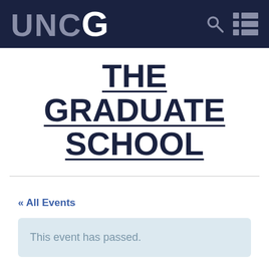UNCG
THE GRADUATE SCHOOL
« All Events
This event has passed.
ENGAGING LOW-INCOME AFRICAN